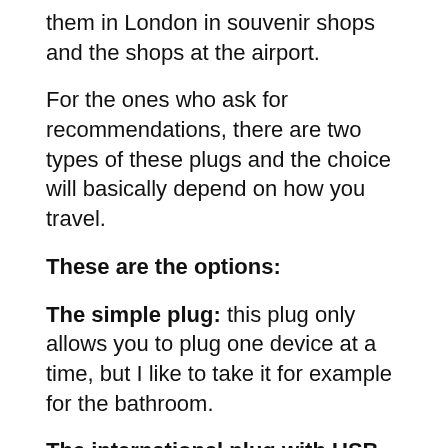them in London in souvenir shops and the shops at the airport.
For the ones who ask for recommendations, there are two types of these plugs and the choice will basically depend on how you travel.
These are the options:
The simple plug:  this plug only allows you to plug one device at a time, but I like to take it for example for the bathroom.
The international plug with USB connections:  this is the option we use to